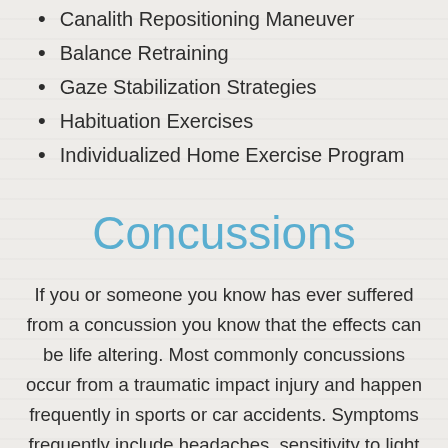Canalith Repositioning Maneuver
Balance Retraining
Gaze Stabilization Strategies
Habituation Exercises
Individualized Home Exercise Program
Concussions
If you or someone you know has ever suffered from a concussion you know that the effects can be life altering. Most commonly concussions occur from a traumatic impact injury and happen frequently in sports or car accidents. Symptoms frequently include headaches, sensitivity to light and / or sound, confusion, poor balance, fatigue, sleep disturbances, dizziness, nausea, irritability, memory problems,